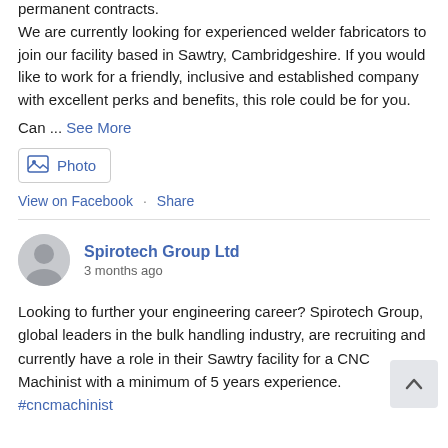permanent contracts.
We are currently looking for experienced welder fabricators to join our facility based in Sawtry, Cambridgeshire. If you would like to work for a friendly, inclusive and established company with excellent perks and benefits, this role could be for you.
Can ... See More
[Figure (screenshot): Photo button with image icon]
View on Facebook · Share
Spirotech Group Ltd — 3 months ago
Looking to further your engineering career? Spirotech Group, global leaders in the bulk handling industry, are recruiting and currently have a role in their Sawtry facility for a CNC Machinist with a minimum of 5 years experience. #cncmachinist